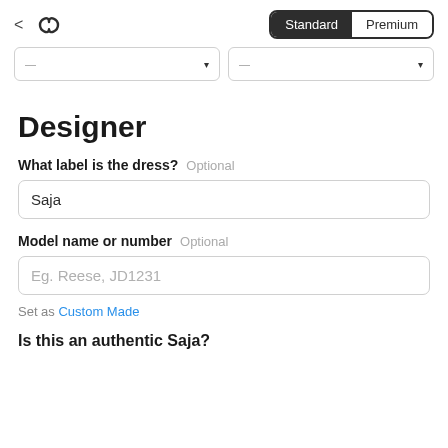Standard | Premium
[Figure (screenshot): Two dropdown filter boxes partially visible at top of content area]
Designer
What label is the dress? Optional
Saja
Model name or number Optional
Eg. Reese, JD1231
Set as Custom Made
Is this an authentic Saja?